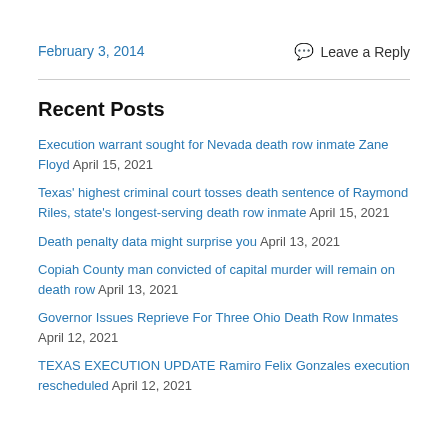February 3, 2014
Leave a Reply
Recent Posts
Execution warrant sought for Nevada death row inmate Zane Floyd April 15, 2021
Texas' highest criminal court tosses death sentence of Raymond Riles, state's longest-serving death row inmate April 15, 2021
Death penalty data might surprise you April 13, 2021
Copiah County man convicted of capital murder will remain on death row April 13, 2021
Governor Issues Reprieve For Three Ohio Death Row Inmates April 12, 2021
TEXAS EXECUTION UPDATE Ramiro Felix Gonzales execution rescheduled April 12, 2021